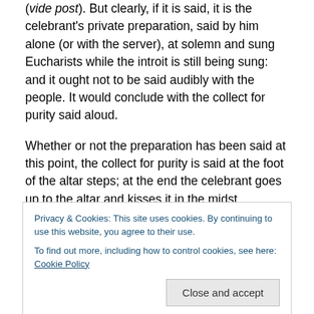(vide post). But clearly, if it is said, it is the celebrant's private preparation, said by him alone (or with the server), at solemn and sung Eucharists while the introit is still being sung: and it ought not to be said audibly with the people. It would conclude with the collect for purity said aloud.
Whether or not the preparation has been said at this point, the collect for purity is said at the foot of the altar steps; at the end the celebrant goes up to the altar and kisses it in the midst.
Privacy & Cookies: This site uses cookies. By continuing to use this website, you agree to their use.
To find out more, including how to control cookies, see here: Cookie Policy
merely the front and sides. The incensing should take